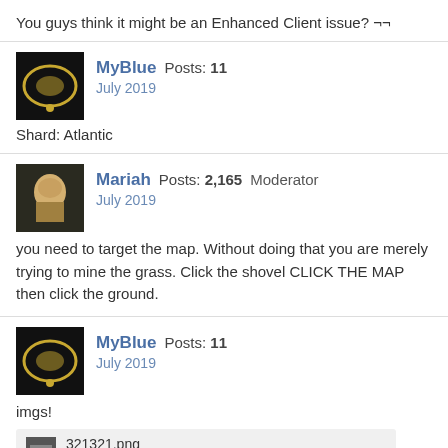You guys think it might be an Enhanced Client issue? ¬¬
MyBlue  Posts: 11
July 2019
Shard: Atlantic
Mariah  Posts: 2,165  Moderator
July 2019
you need to target the map. Without doing that you are merely trying to mine the grass. Click the shovel CLICK THE MAP then click the ground.
MyBlue  Posts: 11
July 2019
imgs!
321321.png 145.2K
123123.png 567.1K